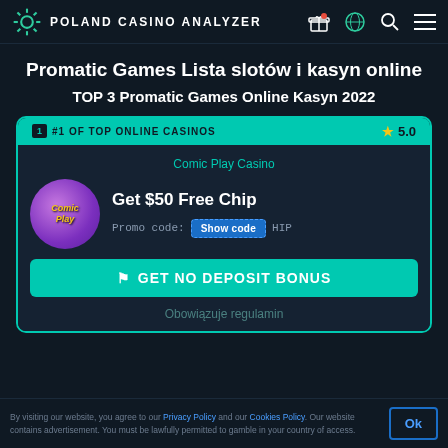POLAND CASINO ANALYZER
Promatic Games Lista slotów i kasyn online
TOP 3 Promatic Games Online Kasyn 2022
[Figure (infographic): Casino card for Comic Play Casino showing #1 of Top Online Casinos badge, 5.0 star rating, logo, Get $50 Free Chip bonus, Show code promo button, and GET NO DEPOSIT BONUS CTA button]
Obowiązuje regulamin
By visiting our website, you agree to our Privacy Policy and our Cookies Policy. Our website contains advertisement. You must be lawfully permitted to gamble in your country of access.